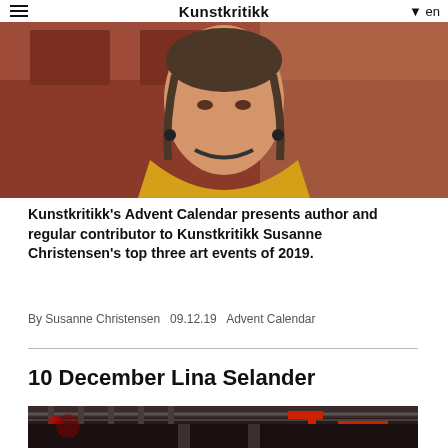Kunstkritikk  en
[Figure (photo): Photo of a young woman with braided pigtails wearing a yellow/mustard sweater, standing in front of a wall with dark red/brown panel decorations]
Kunstkritikk's Advent Calendar presents author and regular contributor to Kunstkritikk Susanne Christensen's top three art events of 2019.
By Susanne Christensen  09.12.19  Advent Calendar
10 December Lina Selander
[Figure (photo): Interior photo of an industrial or gallery space with metal ceiling structure, red metal frame construction, and dim atmospheric lighting]